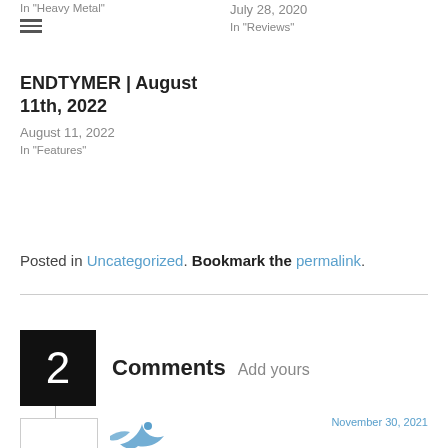In "Heavy Metal"
[Figure (other): Hamburger menu icon (three horizontal lines)]
July 28, 2020
In "Reviews"
ENDTYMER | August 11th, 2022
August 11, 2022
In "Features"
Posted in Uncategorized. Bookmark the permalink.
2 Comments Add yours
[Figure (illustration): Partial bird/avatar icon in blue at bottom of page]